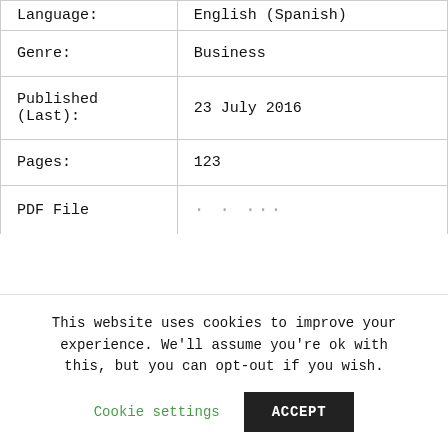| Field | Value |
| --- | --- |
| Language: | English (Spanish) |
| Genre: | Business |
| Published (Last): | 23 July 2016 |
| Pages: | 123 |
| PDF File |  |
This website uses cookies to improve your experience. We'll assume you're ok with this, but you can opt-out if you wish.